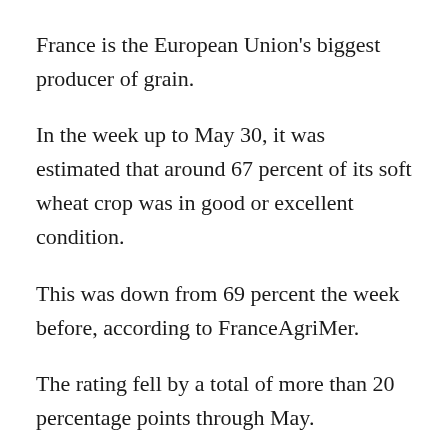France is the European Union's biggest producer of grain.
In the week up to May 30, it was estimated that around 67 percent of its soft wheat crop was in good or excellent condition.
This was down from 69 percent the week before, according to FranceAgriMer.
The rating fell by a total of more than 20 percentage points through May.
This was down to drought exacerbated by a hot spell.
READ MORE: Britons on the street debate UK's involvement in Ukraine